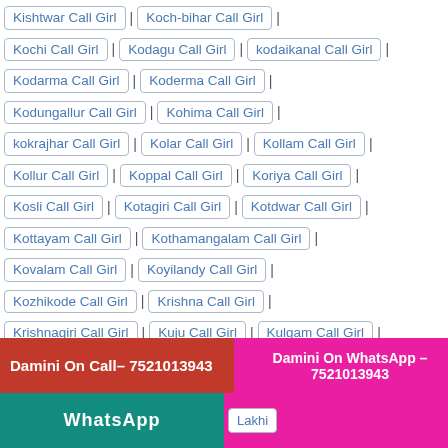Kishtwar Call Girl | Koch-bihar Call Girl |
Kochi Call Girl | Kodagu Call Girl | kodaikanal Call Girl |
Kodarma Call Girl | Koderma Call Girl |
Kodungallur Call Girl | Kohima Call Girl |
kokrajhar Call Girl | Kolar Call Girl | Kollam Call Girl |
Kollur Call Girl | Koppal Call Girl | Koriya Call Girl |
Kosli Call Girl | Kotagiri Call Girl | Kotdwar Call Girl |
Kottayam Call Girl | Kothamangalam Call Girl |
Kovalam Call Girl | Koyilandy Call Girl |
Kozhikode Call Girl | Krishna Call Girl |
Krishnagiri Call Girl | Kuju Call Girl | Kulgam Call Girl |
Kumarakom Call Girl | Kumarapalayam Call Girl |
Kumbakonam Call Girl | Kunnamkulam Call Girl |
Kurseong Call Girl | Kupwara Call Girl |
Damini On Call– 7521013943
Damini On WhatsApp – 7521013943
Lakhi...